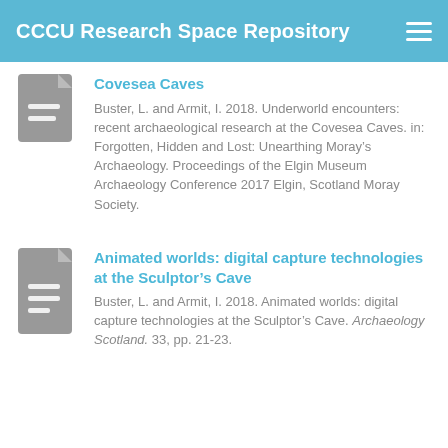CCCU Research Space Repository
Covesea Caves
Buster, L. and Armit, I. 2018. Underworld encounters: recent archaeological research at the Covesea Caves. in: Forgotten, Hidden and Lost: Unearthing Moray’s Archaeology. Proceedings of the Elgin Museum Archaeology Conference 2017 Elgin, Scotland Moray Society.
Animated worlds: digital capture technologies at the Sculptor’s Cave
Buster, L. and Armit, I. 2018. Animated worlds: digital capture technologies at the Sculptor’s Cave. Archaeology Scotland. 33, pp. 21-23.